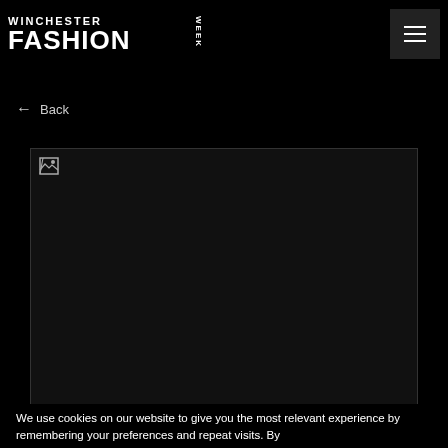WINCHESTER FASHION WEEK
← Back
[Figure (photo): Large image placeholder (broken image icon visible at top-left), dark background]
We use cookies on our website to give you the most relevant experience by remembering your preferences and repeat visits. By